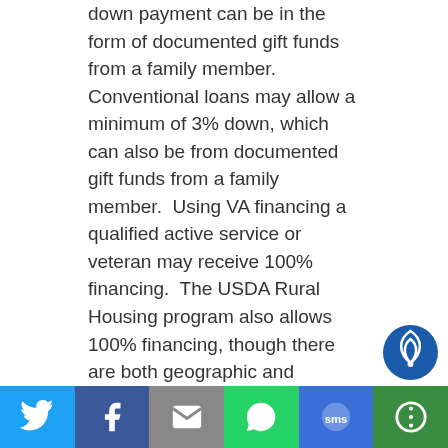down payment can be in the form of documented gift funds from a family member. Conventional loans may allow a minimum of 3% down, which can also be from documented gift funds from a family member.  Using VA financing a qualified active service or veteran may receive 100% financing.  The USDA Rural Housing program also allows 100% financing, though there are both geographic and income restrictions with this program.  The amount financed may be reduced on all of these programs depending on the borrower(s) qualifying credit score.
What is private mortgage insurance (PMI)? Do I have to pay it?
[Figure (logo): Partial circular logo/icon visible in bottom right corner]
Social sharing bar with Twitter, Facebook, Email, WhatsApp, SMS, and More buttons